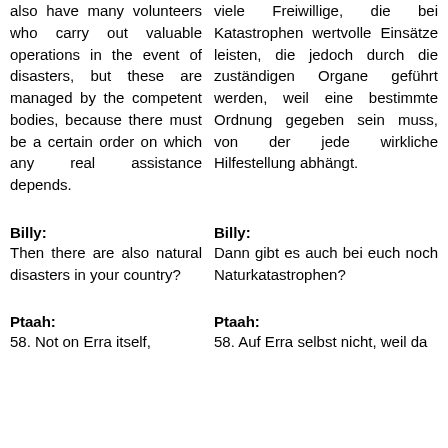also have many volunteers who carry out valuable operations in the event of disasters, but these are managed by the competent bodies, because there must be a certain order on which any real assistance depends.
viele Freiwillige, die bei Katastrophen wertvolle Einsätze leisten, die jedoch durch die zuständigen Organe geführt werden, weil eine bestimmte Ordnung gegeben sein muss, von der jede wirkliche Hilfestellung abhängt.
Billy:
Billy:
Then there are also natural disasters in your country?
Dann gibt es auch bei euch noch Naturkatastrophen?
Ptaah:
Ptaah:
58. Not on Erra itself,
58. Auf Erra selbst nicht, weil da